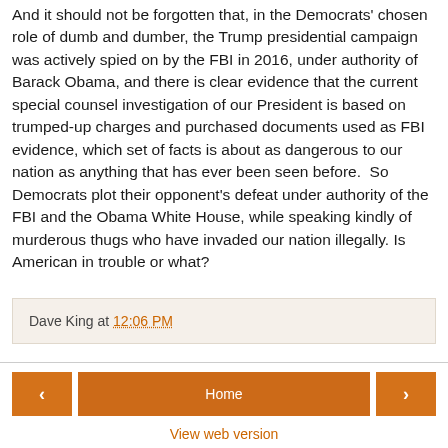And it should not be forgotten that, in the Democrats' chosen role of dumb and dumber, the Trump presidential campaign was actively spied on by the FBI in 2016, under authority of Barack Obama, and there is clear evidence that the current special counsel investigation of our President is based on trumped-up charges and purchased documents used as FBI evidence, which set of facts is about as dangerous to our nation as anything that has ever been seen before.  So Democrats plot their opponent's defeat under authority of the FBI and the Obama White House, while speaking kindly of murderous thugs who have invaded our nation illegally. Is American in trouble or what?
Dave King at 12:06 PM
Home | View web version